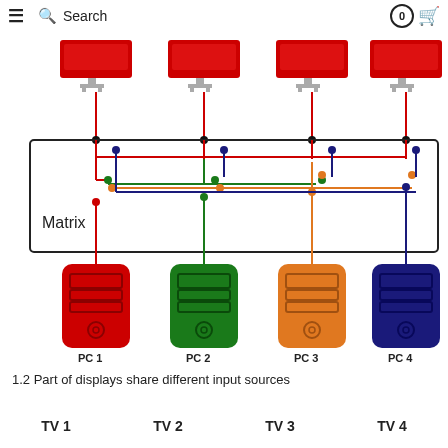≡  🔍 Search    0 🛒
[Figure (network-graph): Diagram showing a matrix switch connecting 4 PCs (PC 1 red, PC 2 green, PC 3 orange, PC 4 dark blue) to 4 TV/monitor displays via colored signal lines. The matrix box is in the center with colored wires routing from each PC to multiple monitors.]
1.2 Part of displays share different input sources
TV 1    TV 2    TV 3    TV 4